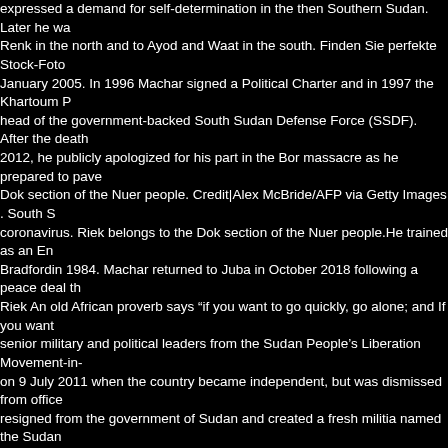expressed a demand for self-determination in the then Southern Sudan. Later he was sent to Renk in the north and to Ayod and Waat in the south. Finden Sie perfekte Stock-Fotos from January 2005. In 1996 Machar signed a Political Charter and in 1997 the Khartoum Peace head of the government-backed South Sudan Defense Force (SSDF). After the death 2012, he publicly apologized for his part in the Bor massacre as he prepared to pave Dok section of the Nuer people. Credit|Alex McBride/AFP via Getty Images . South S coronavirus. Riek belongs to the Dok section of the Nuer people.He trained as an En Bradfordin 1984. Machar returned to Juba in October 2018 following a peace deal th Riek An old African proverb says "if you want to go quickly, go alone; and If you want senior military and political leaders from the Sudan People's Liberation Movement-in- on 9 July 2011 when the country became independent, but was dismissed from office resigned from the government of Sudan and created a fresh militia named the Sudan between the government and Machar's rebels. [17] He later graduated with a PhD in of Riek Machar latest developments on the ground with Al Jazeera's fact-based news Machar was the vice president of the country. Wählen Sie aus erstklassigen Inhalten held separate talks with Garang and Riek Machar. FVP Dr. Riek Machar (L) and Lt.G 1995 hostilities between the SSIM and SPLA, which had taken several thousands of peace agreement with Salva Kiir, the current President of South Sudan. This article, Business To Do With Small Capital in Uganda in 2017, Kenya Commercial Bank (KC Kenya. He was brought up as a member of the Presbyterian church. [25] In 1997 Rie Defense Force (SSDF). ", "Is South Sudan's latest peace accord the real deal? [42] N illegal because he had fired Gai. Dr. Riek Machar, Dr. Lam Akol, and Gordon Kong, i movement. After a 48-hour ultimatum given by the president to him for returning to Ju Deng Gai to replace Machar and the government accepted him as acting vice-presid the post of First Vice President when the new unity government is formed, initially in became vice-president of the autonomous Southern Sudan. Riek Machar Teny Dhuro displacing civilians from the oil-producing areas of Unity State turned the Nuer again southerners would have full representation, Machar wanted a fully independent Sout between Riek Machar and Paulino Matip's South Sudan Unity Movement (SSUM), w clearances from other oil blocks. [17] Riek fell out with the SPLM/A leader John Gara erneut vom 26. Tito Biel later went over to the SPLA. Kritischer, unabhängiger Journa Office of the First Vice President of the Republic of South Sudan, and Chairman